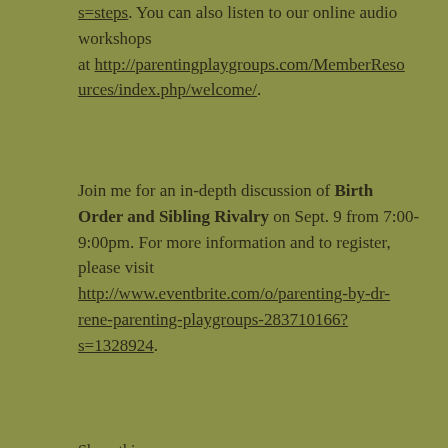s=steps. You can also listen to our online audio workshops at http://parentingplaygroups.com/MemberResources/index.php/welcome/.
Join me for an in-depth discussion of Birth Order and Sibling Rivalry on Sept. 9 from 7:00-9:00pm. For more information and to register, please visit http://www.eventbrite.com/o/parenting-by-dr-rene-parenting-playgroups-283710166?s=1328924.
Share this:
[Figure (screenshot): Social sharing buttons: Tweet (blue Twitter button), Share 32 (blue Facebook button), Print (white button with printer icon), Email (white button with envelope icon)]
[Figure (screenshot): Like button with gold star icon]